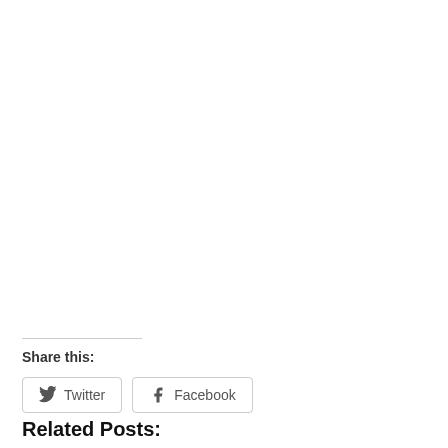Share this:
Twitter
Facebook
Related Posts: